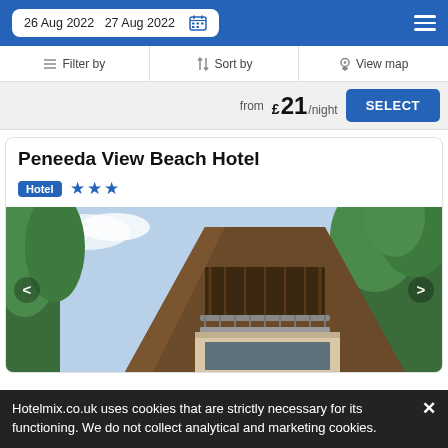26 Aug 2022  27 Aug 2022
Filter by  Sort by  View map
from £ 21/night  SELECT
Peneeda View Beach Hotel
Hotel ★★★
[Figure (photo): Exterior photo of Peneeda View Beach Hotel — an A-frame wooden building with balcony railings, surrounded by green trees with a bright sky in background. Navigation arrows on left and right sides.]
Hotelmix.co.uk uses cookies that are strictly necessary for its functioning. We do not collect analytical and marketing cookies.